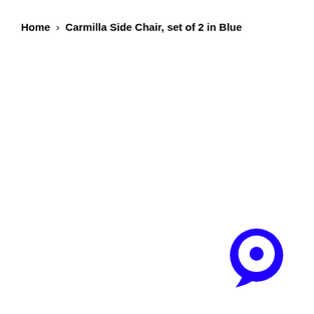Home › Carmilla Side Chair, set of 2 in Blue
[Figure (logo): Blue circular chat bubble icon/logo in the bottom-right corner]